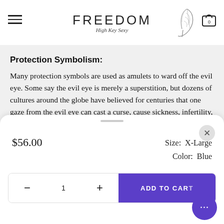[Figure (logo): FREEDOM brand header with feather logo, hamburger menu, and cart icon]
Protection Symbolism:
Many protection symbols are used as amulets to ward off the evil eye. Some say the evil eye is merely a superstition, but dozens of cultures around the globe have believed for centuries that one gaze from the evil eye can cast a curse, cause sickness, infertility, or bad luck to the unsuspecting
$56.00  Size: X-Large  Color: Blue
1  ADD TO CART